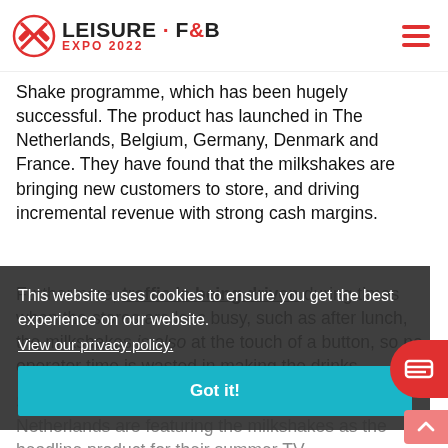LEISURE·F&B EXPO 2022
Shake programme, which has been hugely successful. The product has launched in The Netherlands, Belgium, Germany, Denmark and France. They have found that the milkshakes are bringing new customers to store, and driving incremental revenue with strong cash margins.
Furthermore, traffic is being driven during times when the stores are less busy, such as after lunch, the milkshakes is also at the touch of a button, so no operator time is wasted in making the drinks.
This website uses cookies to ensure you get the best experience on our website.
View our privacy policy.
Got it!
Sales have taken off so much that Dominos Netherlands are featuring the milkshakes as the headline product for their summer TV campaign.